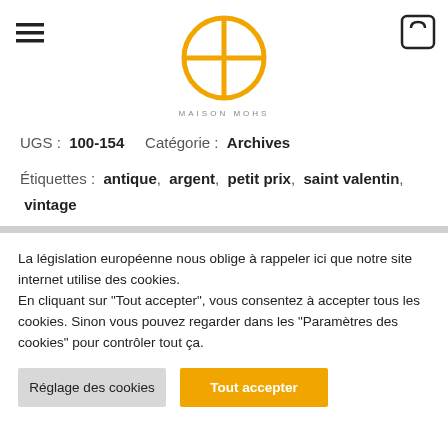[Figure (logo): Maison Mohs logo — circular golden ring with a vertical line through center, text MAISON MOHS below the symbol]
UGS : 100-154   Catégorie : Archives
Étiquettes : antique, argent, petit prix, saint valentin, vintage
Share
La législation européenne nous oblige à rappeler ici que notre site internet utilise des cookies. En cliquant sur "Tout accepter", vous consentez à accepter tous les cookies. Sinon vous pouvez regarder dans les "Paramètres des cookies" pour contrôler tout ça.
Réglage des cookies
Tout accepter